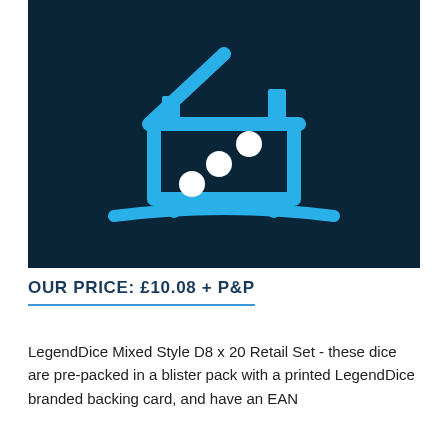[Figure (logo): LegendDice logo on dark navy background: a house outline in bright blue with three white dice dots inside, and a curved blue ground line beneath the house.]
OUR PRICE: £10.08 + P&P
LegendDice Mixed Style D8 x 20 Retail Set - these dice are pre-packed in a blister pack with a printed LegendDice branded backing card, and have an EAN